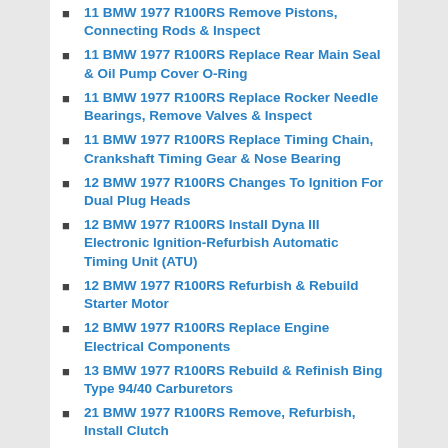11 BMW 1977 R100RS Remove Pistons, Connecting Rods & Inspect
11 BMW 1977 R100RS Replace Rear Main Seal & Oil Pump Cover O-Ring
11 BMW 1977 R100RS Replace Rocker Needle Bearings, Remove Valves & Inspect
11 BMW 1977 R100RS Replace Timing Chain, Crankshaft Timing Gear & Nose Bearing
12 BMW 1977 R100RS Changes To Ignition For Dual Plug Heads
12 BMW 1977 R100RS Install Dyna III Electronic Ignition-Refurbish Automatic Timing Unit (ATU)
12 BMW 1977 R100RS Refurbish & Rebuild Starter Motor
12 BMW 1977 R100RS Replace Engine Electrical Components
13 BMW 1977 R100RS Rebuild & Refinish Bing Type 94/40 Carburetors
21 BMW 1977 R100RS Remove, Refurbish, Install Clutch
22 BMW 1977 R100RS Remove, Disassemble...